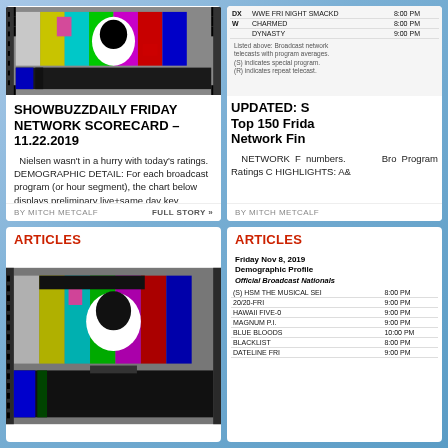[Figure (other): TV test card / color bar pattern image]
SHOWBUZZDAILY FRIDAY NETWORK SCORECARD – 11.22.2019
Nielsen wasn't in a hurry with today's ratings. DEMOGRAPHIC DETAIL: For each broadcast program (or hour segment), the chart below displays preliminary live+same day key advertiser demographics (adult 18-34, ...
BY MITCH METCALF
FULL STORY »
[Figure (other): Partial TV scorecard table showing DX WWE FRI NIGHT SMACKD, W CHARMED, DYNASTY with time slots and ratings]
UPDATED: S Top 150 Frida Network Fin
NETWORK F numbers. Bro Program Ratings C HIGHLIGHTS: A&
BY MITCH METCALF
ARTICLES
[Figure (other): TV test card / color bar pattern image (second instance)]
ARTICLES
|  | Program | Time |
| --- | --- | --- |
|  | Friday Nov 8, 2019 |  |
|  | Demographic Profile |  |
|  | Official Broadcast Nationals |  |
| (S) | HSM THE MUSICAL SEI | 8:00 PM |
|  | 20/20-FRI | 9:00 PM |
|  | HAWAII FIVE-0 | 9:00 PM |
|  | MAGNUM P.I. | 9:00 PM |
|  | BLUE BLOODS | 10:00 PM |
|  | BLACKLIST | 8:00 PM |
|  | DATELINE FRI | 9:00 PM |